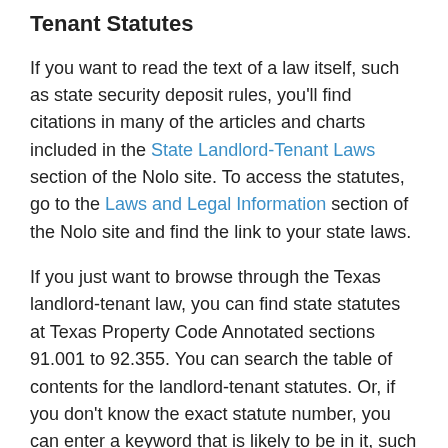Tenant Statutes
If you want to read the text of a law itself, such as state security deposit rules, you'll find citations in many of the articles and charts included in the State Landlord-Tenant Laws section of the Nolo site. To access the statutes, go to the Laws and Legal Information section of the Nolo site and find the link to your state laws.
If you just want to browse through the Texas landlord-tenant law, you can find state statutes at Texas Property Code Annotated sections 91.001 to 92.355. You can search the table of contents for the landlord-tenant statutes. Or, if you don't know the exact statute number, you can enter a keyword that is likely to be in it, such as "nonpayment of rent."